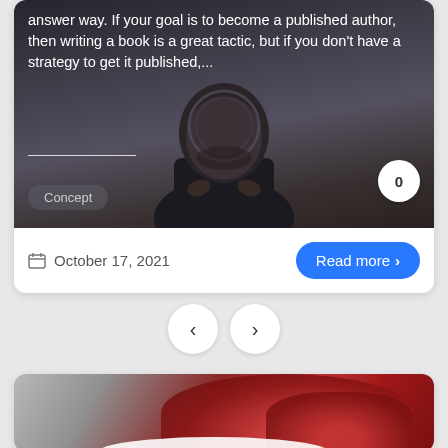answer way. If your goal is to become a published author, then writing a book is a great tactic, but if you don't have a strategy to get it published,...
Concept
0
October 17, 2021
Read more ›
<
>
[Figure (photo): A man looking upward through a circular lens or glasses frame, dark moody background]
[Figure (photo): Close-up of red food items (possibly peppers or meat) on a white plate, blurred background]